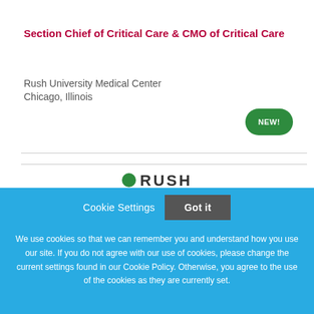Section Chief of Critical Care & CMO of Critical Care
Rush University Medical Center
Chicago, Illinois
NEW!
Cookie Settings   Got it
We use cookies so that we can remember you and understand how you use our site. If you do not agree with our use of cookies, please change the current settings found in our Cookie Policy. Otherwise, you agree to the use of the cookies as they are currently set.